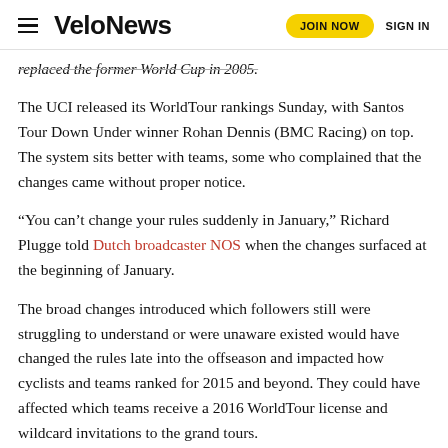VeloNews | JOIN NOW | SIGN IN
replaced the former World Cup in 2005.
The UCI released its WorldTour rankings Sunday, with Santos Tour Down Under winner Rohan Dennis (BMC Racing) on top. The system sits better with teams, some who complained that the changes came without proper notice.
“You can’t change your rules suddenly in January,” Richard Plugge told Dutch broadcaster NOS when the changes surfaced at the beginning of January.
The broad changes introduced which followers still were struggling to understand or were unaware existed would have changed the rules late into the offseason and impacted how cyclists and teams ranked for 2015 and beyond. They could have affected which teams receive a 2016 WorldTour license and wildcard invitations to the grand tours.